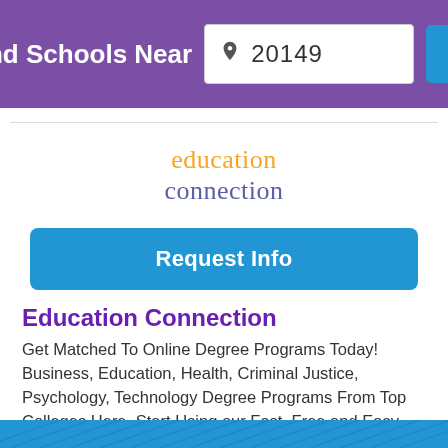Find Schools Near 20149
[Figure (logo): Education Connection logo with 'education' in orange and 'connection' in purple]
Request Info
Education Connection
Get Matched To Online Degree Programs Today! Business, Education, Health, Criminal Justice, Psychology, Technology Degree Programs From Top Colleges Here. Start Using our Fast, Free and Easy Matching Service Right Here and Right NOW!... Learn more >